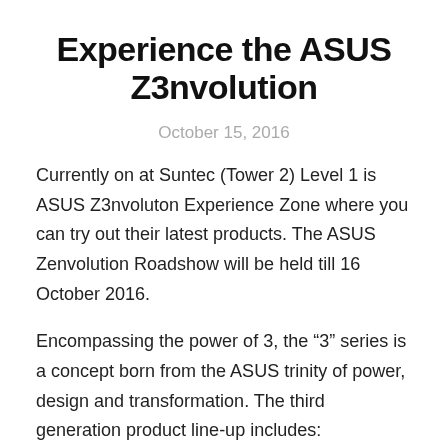Experience the ASUS Z3nvolution
October 15, 2016
Currently on at Suntec (Tower 2) Level 1 is ASUS Z3nvoluton Experience Zone where you can try out their latest products. The ASUS Zenvolution Roadshow will be held till 16 October 2016.
Encompassing the power of 3, the “3” series is a concept born from the ASUS trinity of power, design and transformation. The third generation product line-up includes: